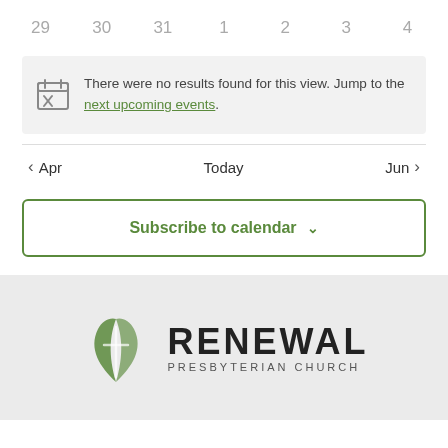29  30  31  1  2  3  4
There were no results found for this view. Jump to the next upcoming events.
◀ Apr   Today   Jun ▶
Subscribe to calendar ∨
[Figure (logo): Renewal Presbyterian Church logo with green leaf/flame icon]